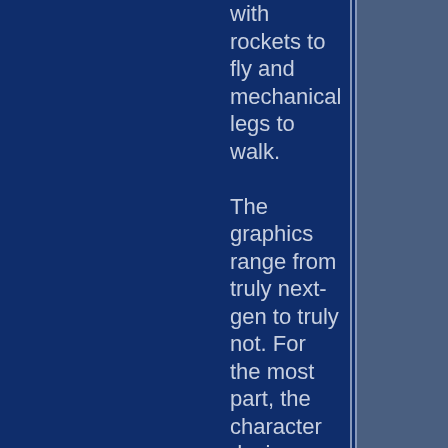with rockets to fly and mechanical legs to walk.

The graphics range from truly next-gen to truly not. For the most part, the character designs and animations could have easily been rendered on the